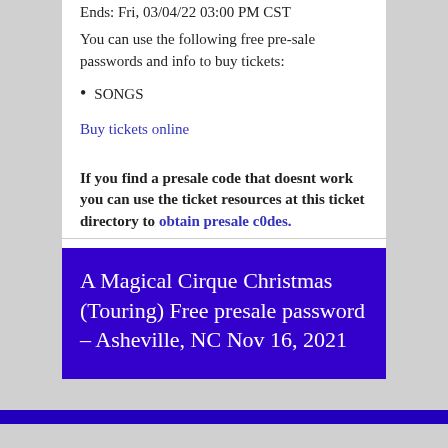Ends: Fri, 03/04/22 03:00 PM CST
You can use the following free pre-sale passwords and info to buy tickets:
SONGS
Buy tickets online
If you find a presale code that doesnt work you can use the ticket resources at this ticket directory to obtain presale c0des.
A Magical Cirque Christmas (Touring) Free presale password – Asheville, NC Nov 16, 2021